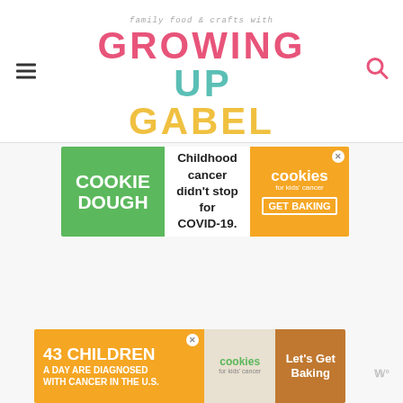family food & crafts with GROWING UP GABEL
[Figure (screenshot): Advertisement banner: Cookie Dough - Childhood cancer didn't stop for COVID-19. cookies for kids' cancer. GET BAKING]
[Figure (screenshot): Advertisement banner: 43 CHILDREN A Day Are Diagnosed With Cancer in the U.S. cookies for kids' cancer. Let's Get Baking]